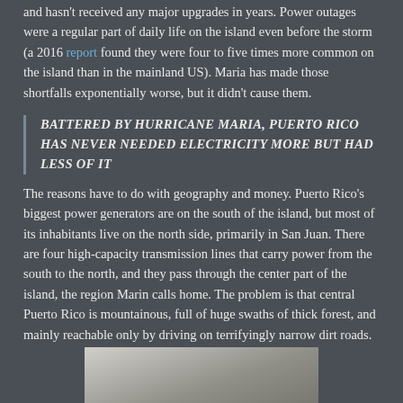and hasn't received any major upgrades in years. Power outages were a regular part of daily life on the island even before the storm (a 2016 report found they were four to five times more common on the island than in the mainland US). Maria has made those shortfalls exponentially worse, but it didn't cause them.
BATTERED BY HURRICANE MARIA, PUERTO RICO HAS NEVER NEEDED ELECTRICITY MORE BUT HAD LESS OF IT
The reasons have to do with geography and money. Puerto Rico's biggest power generators are on the south of the island, but most of its inhabitants live on the north side, primarily in San Juan. There are four high-capacity transmission lines that carry power from the south to the north, and they pass through the center part of the island, the region Marin calls home. The problem is that central Puerto Rico is mountainous, full of huge swaths of thick forest, and mainly reachable only by driving on terrifyingly narrow dirt roads.
[Figure (photo): Partial photo visible at bottom of page, appears to be an outdoor scene with light and dark tones]